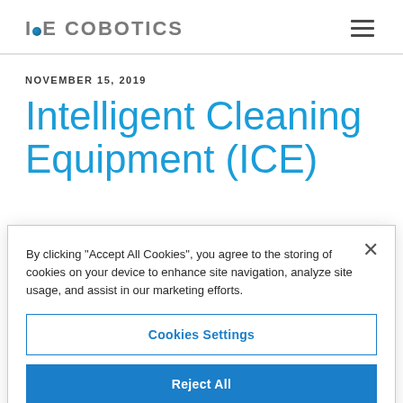ICE COBOTICS
NOVEMBER 15, 2019
Intelligent Cleaning Equipment (ICE)
By clicking "Accept All Cookies", you agree to the storing of cookies on your device to enhance site navigation, analyze site usage, and assist in our marketing efforts.
Cookies Settings
Reject All